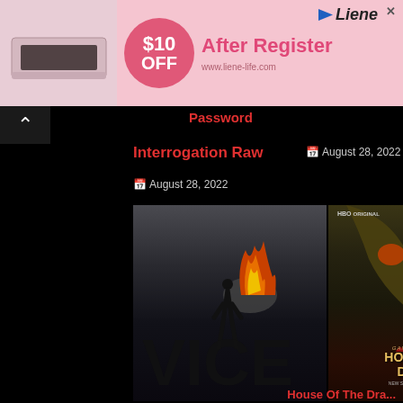[Figure (screenshot): Advertisement banner for Liene printer: pink background, product image of a white printer on the left, pink circle with '$10 OFF' text, bold pink text 'After Register', URL 'www.liene-life.com', Liene logo top right]
Password
Interrogation Raw
August 28, 2022
August 28, 2022
[Figure (photo): Movie poster for VICE - dark stormy sky, fire explosion, person running, large VICE letters]
[Figure (photo): Movie poster for House of the Dragon HBO Original - dragon face, woman in red dress, 'Game of Thrones House of the Dragon New Series Streaming Aug 21 HBO Max']
House Of The Dra...